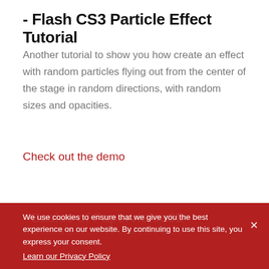- Flash CS3 Particle Effect Tutorial
Another tutorial to show you how create an effect with random particles flying out from the center of the stage in random directions, with random sizes and opacities.
Check out the demo
- Basics of Papervision3D
This tutorial goes over the basics how to use the Papervision 3D lib...
We use cookies to ensure that we give you the best experience on our website. By continuing to use this site, you express your consent. Learn our Privacy Policy